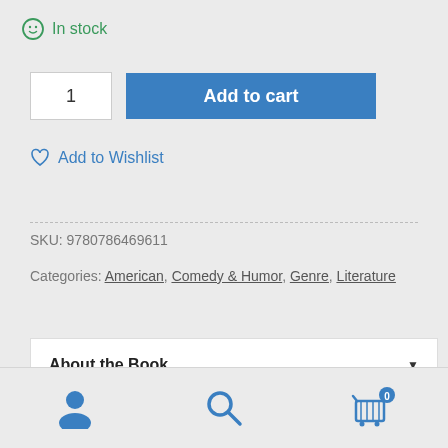In stock
1  Add to cart
Add to Wishlist
SKU: 9780786469611
Categories: American, Comedy & Humor, Genre, Literature
About the Book
About the Author(s)
[Figure (other): Bottom navigation bar with user account icon, search icon, and cart icon with badge showing 0]